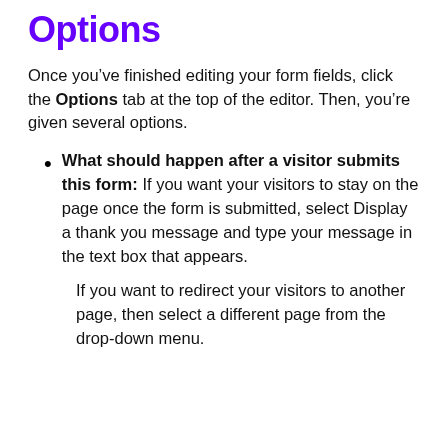Options
Once you’ve finished editing your form fields, click the Options tab at the top of the editor. Then, you’re given several options.
What should happen after a visitor submits this form: If you want your visitors to stay on the page once the form is submitted, select Display a thank you message and type your message in the text box that appears.
If you want to redirect your visitors to another page, then select a different page from the drop-down menu.